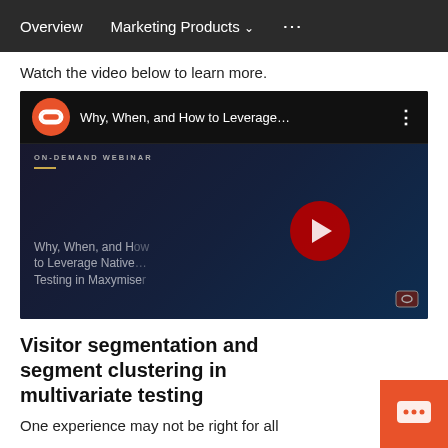Overview   Marketing Products ∨   • • •
Watch the video below to learn more.
[Figure (screenshot): Embedded YouTube video thumbnail showing 'Why, When, and How to Leverage...' on-demand webinar titled 'Why, When, and How to Leverage Native Testing in Maxymiser' with a red play button overlay on a dark background.]
Visitor segmentation and segment clustering in multivariate testing
One experience may not be right for all